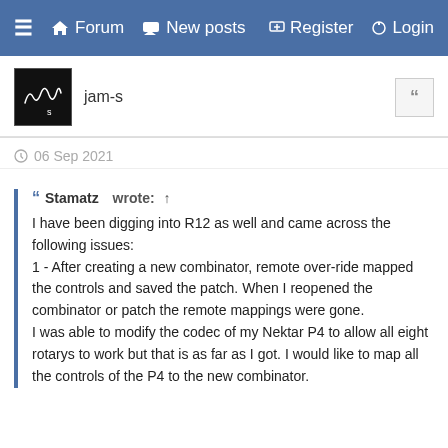≡ 🏠 Forum 💬 New posts ✏ Register ⏻ Login
jam-s
🕐 06 Sep 2021
❝ Stamatz wrote: ↑
I have been digging into R12 as well and came across the following issues:
1 - After creating a new combinator, remote over-ride mapped the controls and saved the patch. When I reopened the combinator or patch the remote mappings were gone.
I was able to modify the codec of my Nektar P4 to allow all eight rotarys to work but that is as far as I got. I would like to map all the controls of the P4 to the new combinator.